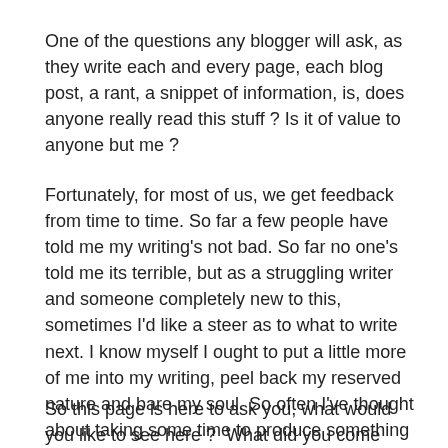One of the questions any blogger will ask, as they write each and every page, each blog post, a rant, a snippet of information, is, does anyone really read this stuff ? Is it of value to anyone but me ?
Fortunately, for most of us, we get feedback from time to time. So far a few people have told me my writing's not bad. So far no one's told me its terrible, but as a struggling writer and someone completely new to this, sometimes I'd like a steer as to what to write next. I know myself I ought to put a little more of me into my writing, peel back my reserved nature and bare my soul. So often I've thought about taking some time to produce something extra. From a simple short and sweet guide, to a full length novel.
So this page is here to ask you, what would you like to see here ?  What did you come looking for ?